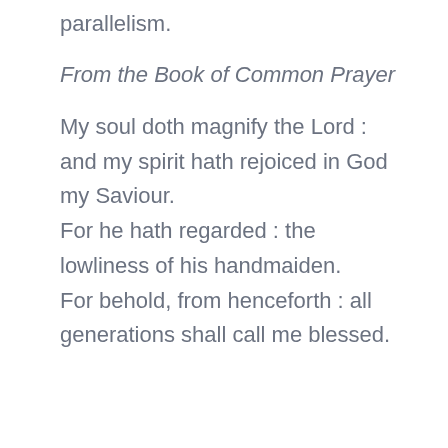parallelism.
From the Book of Common Prayer
My soul doth magnify the Lord : and my spirit hath rejoiced in God my Saviour.
For he hath regarded : the lowliness of his handmaiden.
For behold, from henceforth : all generations shall call me blessed.